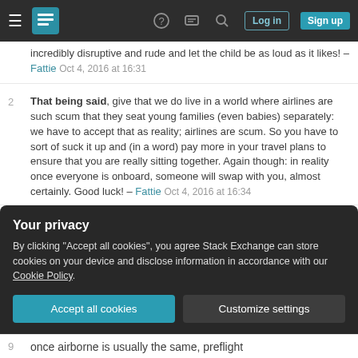Stack Exchange navigation bar with hamburger menu, logo, help, chat, search icons, Log in and Sign up buttons
incredibly disruptive and rude and let the child be as loud as it likes! – Fattie Oct 4, 2016 at 16:31
2 That being said, give that we do live in a world where airlines are such scum that they seat young families (even babies) separately: we have to accept that as reality; airlines are scum. So you have to sort of suck it up and (in a word) pay more in your travel plans to ensure that you are really sitting together. Again though: in reality once everyone is onboard, someone will swap with you, almost certainly. Good luck! – Fattie Oct 4, 2016 at 16:34
Add a comment
Your privacy
By clicking "Accept all cookies", you agree Stack Exchange can store cookies on your device and disclose information in accordance with our Cookie Policy.
Accept all cookies
Customize settings
9 once airborne is usually the same, preflight